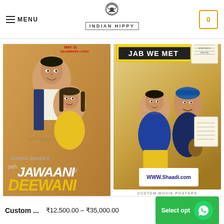MENU | INDIAN HIPPY | Cart: 0
[Figure (photo): Movie poster for 'Yeh Jawaani Hai Deewani' featuring two actors, with UTV logo and tagline 'May 31 Celebrate Love']
[Figure (photo): Movie poster for 'Jab We Met' with Hindi text 'जब वी मेट' on a train station sign, featuring two actors, www.Shaadi.com branding]
CUSTOM MOVIE POSTERS
Custom ...  ₹12,500.00 – ₹35,000.00  Select opt